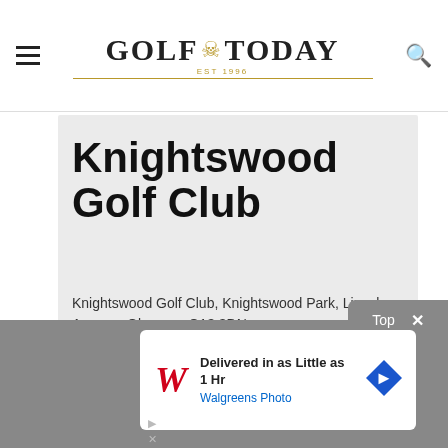GOLF TODAY - site navigation header with hamburger menu and search icon
Knightswood Golf Club
Knightswood Golf Club, Knightswood Park, Lincoln Avenue, Glasgow, G13 3DN
[Figure (screenshot): Advertisement overlay: Walgreens Photo - Delivered in as Little as 1 Hr, with Top/Close controls]
Top  ×